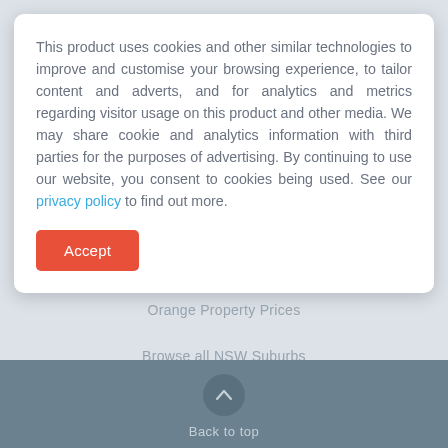This product uses cookies and other similar technologies to improve and customise your browsing experience, to tailor content and adverts, and for analytics and metrics regarding visitor usage on this product and other media. We may share cookie and analytics information with third parties for the purposes of advertising. By continuing to use our website, you consent to cookies being used. See our privacy policy to find out more.
Accept
Orange Property Prices
Browse all NSW Suburbs
Back to top